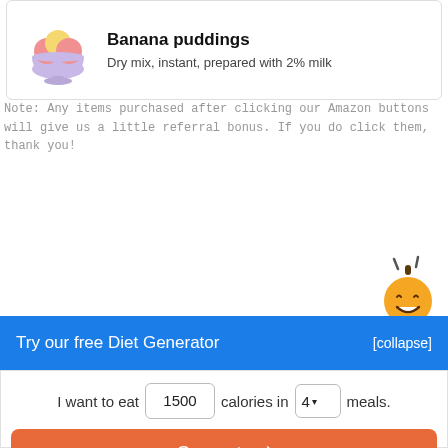[Figure (illustration): Ice cream bowl with pink and yellow scoops, light purple bowl, on a white background within a card]
Banana puddings
Dry mix, instant, prepared with 2% milk
Note: Any items purchased after clicking our Amazon buttons will give us a little referral bonus. If you do click them, thank you!
[Figure (illustration): Orange smiling mascot character with antenna/stem on top, positioned in bottom-right corner]
Try our free Diet Generator
[collapse]
I want to eat 1500 calories in 4 meals.
Generate